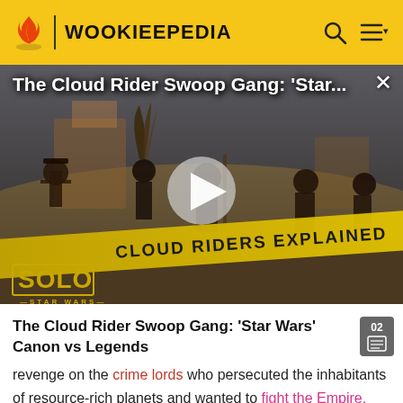WOOKIEEPEDIA
[Figure (screenshot): Video thumbnail showing Cloud Rider Swoop Gang members on a sandy landscape with play button overlay, yellow diagonal banner reading 'CLOUD RIDERS EXPLAINED', and Solo: A Star Wars Story logo at bottom left. Title overlay reads 'The Cloud Rider Swoop Gang: Star...' with close X button.]
The Cloud Rider Swoop Gang: 'Star Wars' Canon vs Legends
revenge on the crime lords who persecuted the inhabitants of resource-rich planets and wanted to fight the Empire.